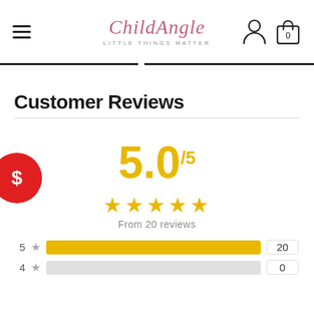ChildAngle — LITTLE THINGS MATTER
Customer Reviews
5.0/5
★★★★★
From 20 reviews
| Stars | Rating | Bar | Count |
| --- | --- | --- | --- |
| 5 | ★ |  | 20 |
| 4 | ★ |  | 0 |